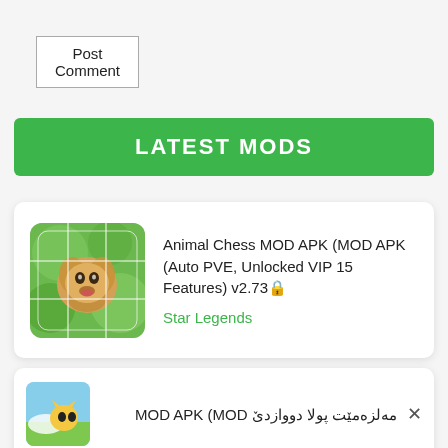Post Comment
LATEST MODS
[Figure (screenshot): App icon for Animal Chess showing a dog (golden retriever) assembled as a jigsaw puzzle on a green bokeh background]
Animal Chess MOD APK (MOD APK (Auto PVE, Unlocked VIP 15 Features) v2.73🔒
Star Legends
[Figure (illustration): App icon showing cartoon characters (cat and dog) with sky/cloud background]
مەلزەمێت پولا دووازدێ MOD APK (MOD